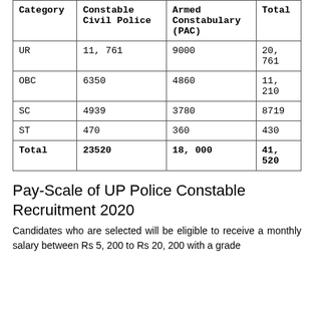| Category | Constable Civil Police | Armed Constabulary (PAC) | Total |
| --- | --- | --- | --- |
| UR | 11, 761 | 9000 | 20, 761 |
| OBC | 6350 | 4860 | 11, 210 |
| SC | 4939 | 3780 | 8719 |
| ST | 470 | 360 | 430 |
| Total | 23520 | 18, 000 | 41, 520 |
Pay-Scale of UP Police Constable Recruitment 2020
Candidates who are selected will be eligible to receive a monthly salary between Rs 5, 200 to Rs 20, 200 with a grade